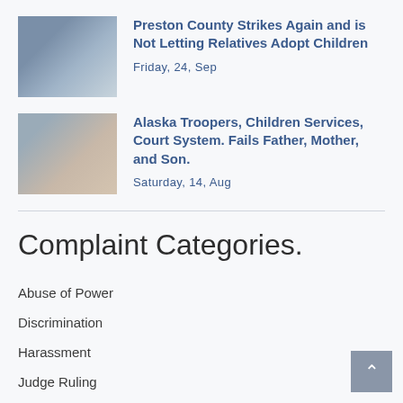[Figure (photo): Thumbnail photo of family/people outdoors]
Preston County Strikes Again and is Not Letting Relatives Adopt Children
Friday, 24, Sep
[Figure (photo): Thumbnail photo of family group smiling]
Alaska Troopers, Children Services, Court System. Fails Father, Mother, and Son.
Saturday, 14, Aug
Complaint Categories.
Abuse of Power
Discrimination
Harassment
Judge Ruling